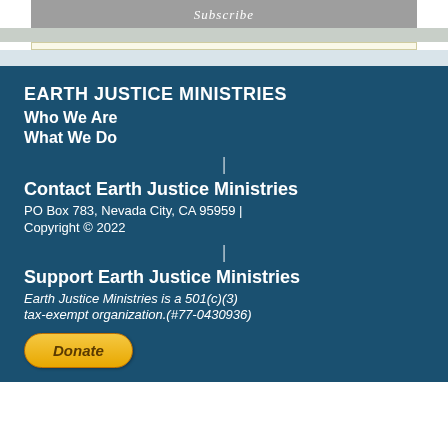Subscribe
EARTH JUSTICE MINISTRIES
Who We Are
What We Do
Contact Earth Justice Ministries
PO Box 783, Nevada City, CA 95959 | Copyright © 2022
Support Earth Justice Ministries
Earth Justice Ministries is a 501(c)(3) tax-exempt organization.(#77-0430936)
[Figure (other): PayPal Donate button]